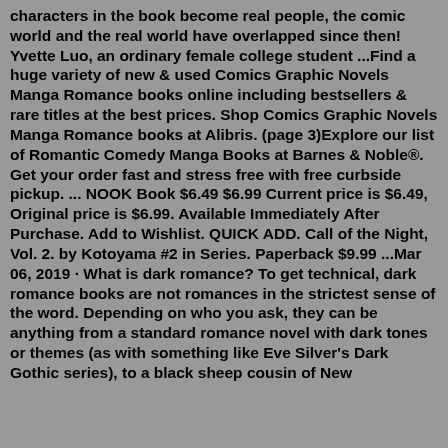characters in the book become real people, the comic world and the real world have overlapped since then! Yvette Luo, an ordinary female college student ...Find a huge variety of new & used Comics Graphic Novels Manga Romance books online including bestsellers & rare titles at the best prices. Shop Comics Graphic Novels Manga Romance books at Alibris. (page 3)Explore our list of Romantic Comedy Manga Books at Barnes & Noble®. Get your order fast and stress free with free curbside pickup. ... NOOK Book $6.49 $6.99 Current price is $6.49, Original price is $6.99. Available Immediately After Purchase. Add to Wishlist. QUICK ADD. Call of the Night, Vol. 2. by Kotoyama #2 in Series. Paperback $9.99 ...Mar 06, 2019 · What is dark romance? To get technical, dark romance books are not romances in the strictest sense of the word. Depending on who you ask, they can be anything from a standard romance novel with dark tones or themes (as with something like Eve Silver's Dark Gothic series), to a black sheep cousin of New